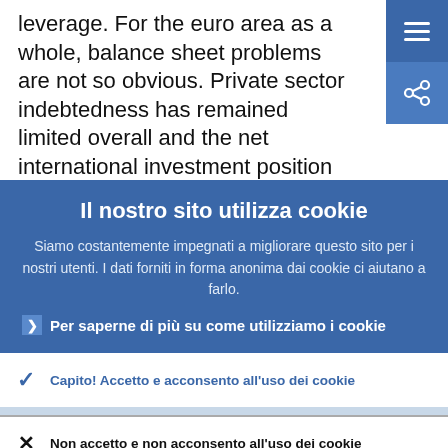leverage. For the euro area as a whole, balance sheet problems are not so obvious. Private sector indebtedness has remained limited overall and the net international investment position
Il nostro sito utilizza cookie
Siamo costantemente impegnati a migliorare questo sito per i nostri utenti. I dati forniti in forma anonima dai cookie ci aiutano a farlo.
Per saperne di più su come utilizziamo i cookie
Capito! Accetto e acconsento all'uso dei cookie
Non accetto e non acconsento all'uso dei cookie